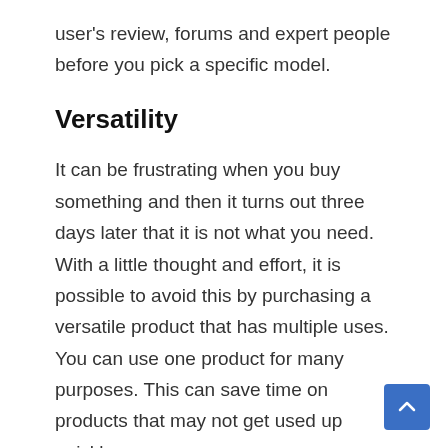user's review, forums and expert people before you pick a specific model.
Versatility
It can be frustrating when you buy something and then it turns out three days later that it is not what you need. With a little thought and effort, it is possible to avoid this by purchasing a versatile product that has multiple uses. You can use one product for many purposes. This can save time on products that may not get used up quickly.
You can also use the product in different ways, depending on the need at the time. In this way, you